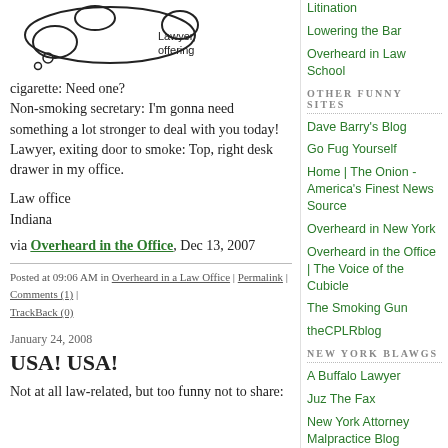[Figure (illustration): Hand-drawn style cloud/thought bubble with a small figure, representing a Lawyer offering a cigarette]
cigarette: Need one?
Non-smoking secretary: I'm gonna need something a lot stronger to deal with you today!
Lawyer, exiting door to smoke: Top, right desk drawer in my office.
Law office
Indiana
via Overheard in the Office, Dec 13, 2007
Posted at 09:06 AM in Overheard in a Law Office | Permalink | Comments (1) | TrackBack (0)
January 24, 2008
USA! USA!
Not at all law-related, but too funny not to share:
Litination
Lowering the Bar
Overheard in Law School
OTHER FUNNY SITES
Dave Barry's Blog
Go Fug Yourself
Home | The Onion - America's Finest News Source
Overheard in New York
Overheard in the Office | The Voice of the Cubicle
The Smoking Gun
theCPLRblog
NEW YORK BLAWGS
A Buffalo Lawyer
Juz The Fax
New York Attorney Malpractice Blog